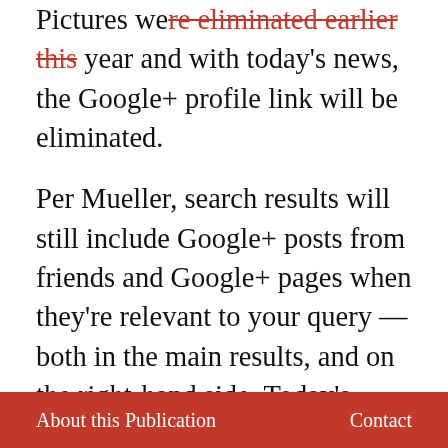Pictures were eliminated earlier this year and with today's news, the Google+ profile link will be eliminated.
Per Mueller, search results will still include Google+ posts from friends and Google+ pages when they're relevant to your query — both in the main results, and on the right-hand side. Today's Authorship change doesn't impact those social features. So no, Google+ is not gone yet.
Why the elimination of Authorship? Hard to say. No question it will fuel the discussion that Google+ is going to be phased out altogether
About this Publication    Contact